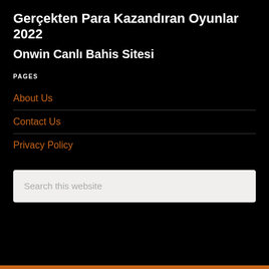Gerçekten Para Kazandıran Oyunlar 2022
Onwin Canlı Bahis Sitesi
PAGES
About Us
Contact Us
Privacy Policy
Search this website